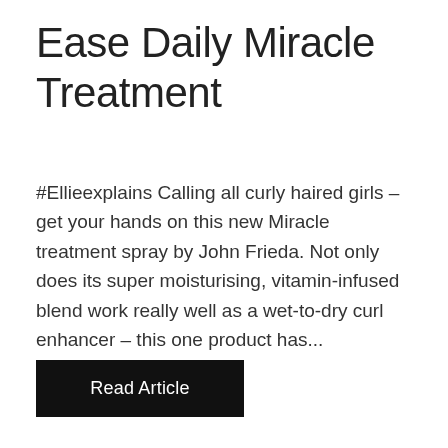Ease Daily Miracle Treatment
#Ellieexplains Calling all curly haired girls – get your hands on this new Miracle treatment spray by John Frieda. Not only does its super moisturising, vitamin-infused blend work really well as a wet-to-dry curl enhancer – this one product has...
Read Article
[Figure (photo): Bottom portion of page showing product bottles/packaging partially visible — dark brown/gold cosmetic product containers against a light to dark gradient background]